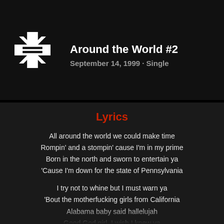Around the World #2
September 14, 1999 · Single
Lyrics
All around the world we could make time
Rompin' and a stompin' cause I'm in my prime
Born in the north and sworn to entertain ya
'Cause I'm down for the state of Pennsylvania
I try not to whine but I must warn ya
'Bout the motherfucking girls from California
Alabama baby said hallelujah
Good God girl, I wish I knew ya
I know, I know, for sure
That life is beautiful around the world
I know, I know, it's you
You say hello and then I say I do
Come back baby 'cause I'd like to say